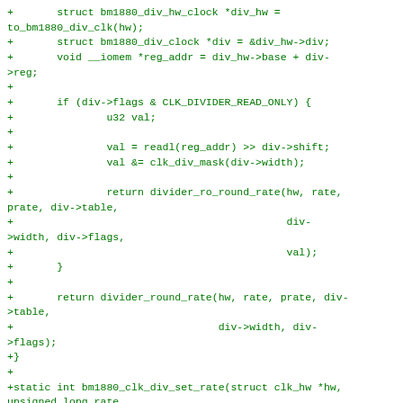[Figure (other): Source code diff snippet in C showing bm1880 clock driver functions including bm1880_div_hw_clock struct, CLK_DIVIDER_READ_ONLY check, divider_ro_round_rate and divider_round_rate return calls, and bm1880_clk_div_set_rate static int function signature.]